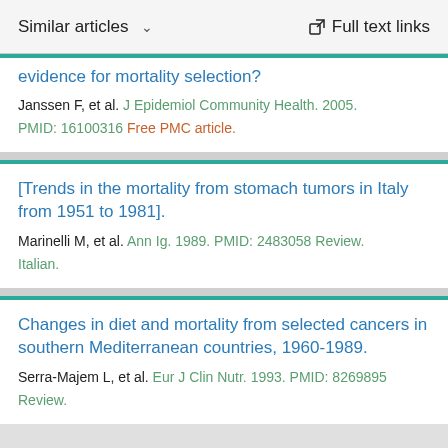Similar articles   ∨   Full text links
evidence for mortality selection?
Janssen F, et al. J Epidemiol Community Health. 2005.
PMID: 16100316 Free PMC article.
[Trends in the mortality from stomach tumors in Italy from 1951 to 1981].
Marinelli M, et al. Ann Ig. 1989. PMID: 2483058 Review.
Italian.
Changes in diet and mortality from selected cancers in southern Mediterranean countries, 1960-1989.
Serra-Majem L, et al. Eur J Clin Nutr. 1993. PMID: 8269895
Review.